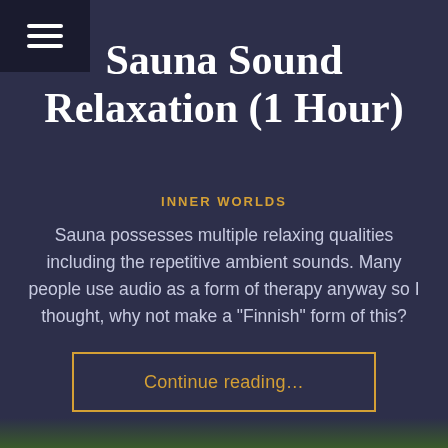[Figure (other): Hamburger menu icon (three horizontal white lines) on dark background]
Sauna Sound Relaxation (1 Hour)
INNER WORLDS
Sauna possesses multiple relaxing qualities including the repetitive ambient sounds. Many people use audio as a form of therapy anyway so I thought, why not make a "Finnish" form of this?
Continue reading…